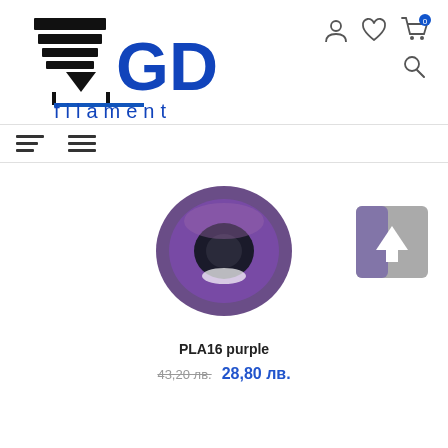[Figure (logo): GD Filament logo with 3D printer icon and blue GD text with filament subtitle]
[Figure (illustration): Top navigation icons: user profile, wishlist heart, shopping cart with 0 badge, and search icon]
[Figure (illustration): Hamburger menu icons for navigation]
[Figure (photo): Purple PLA filament spool product image]
[Figure (illustration): Scroll to top button with purple and grey background and up arrow]
PLA16 purple
43,20 лв. 28,80 лв.